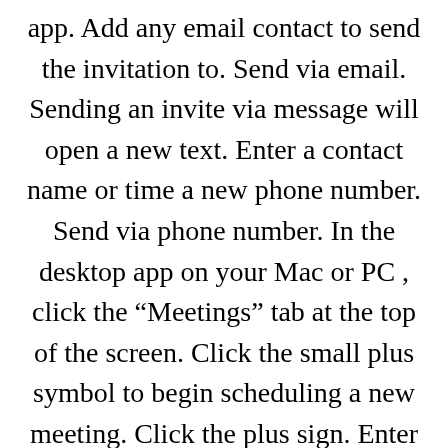app. Add any email contact to send the invitation to. Send via email. Sending an invite via message will open a new text. Enter a contact name or time a new phone number. Send via phone number. In the desktop app on your Mac or PC , click the “Meetings” tab at the top of the screen. Click the small plus symbol to begin scheduling a new meeting. Click the plus sign. Enter all of your meeting details, including the name, date, and time.